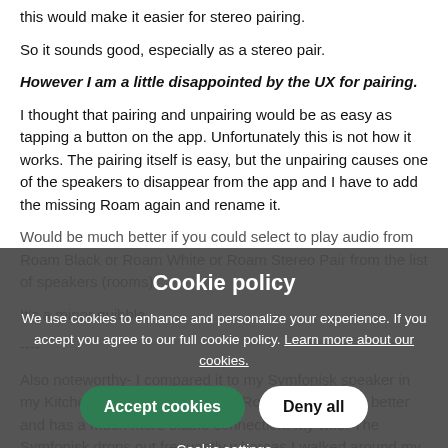this would make it easier for stereo pairing.
So it sounds good, especially as a stereo pair.
However I am a little disappointed by the UX for pairing.
I thought that pairing and unpairing would be as easy as tapping a button on the app. Unfortunately this is not how it works. The pairing itself is easy, but the unpairing causes one of the speakers to disappear from the app and I have to add the missing Roam again and rename it.
Would be much better if you could select to play audio from Roam Black or Roam White or Roam Stereo Pair from the list of speakers (rooms).
It's a minor quibble.
----
Also noteworthy- I compared it to my Symfonisk speaker in my Kitchen and I have to say the Roam sounds a lot better and has a much more stable connection. My wife: The Symfonisk drops out frequently whereas I walked around my home holding
Cookie policy
We use cookies to enhance and personalize your experience. If you accept you agree to our full cookie policy. Learn more about our cookies.
Accept cookies
Deny all
Cookie settings